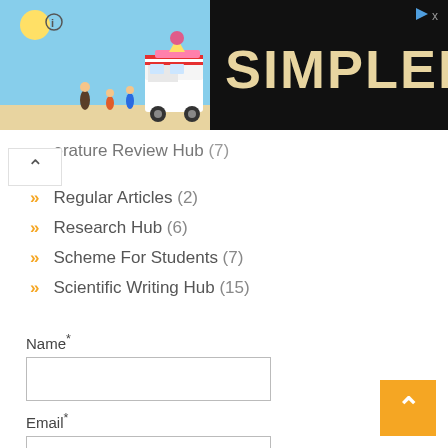[Figure (screenshot): Advertisement banner with ice cream truck on left (blue sky background) and 'SIMPLER' text on black background on right, with ad choice icons in top right corner]
...erature Review Hub (7)
Regular Articles (2)
Research Hub (6)
Scheme For Students (7)
Scientific Writing Hub (15)
Name*
Email*
Subscribe